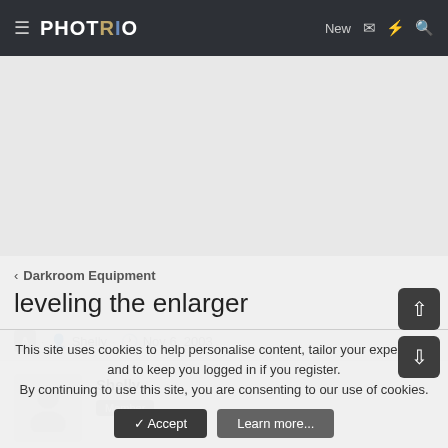PHOTRIO — New
[Figure (other): Advertisement/banner area (gray placeholder)]
< Darkroom Equipment
leveling the enlarger
A · Shelly · Nov 6, 2003
Shelly
Member
This site uses cookies to help personalise content, tailor your experience and to keep you logged in if you register.
By continuing to use this site, you are consenting to our use of cookies.